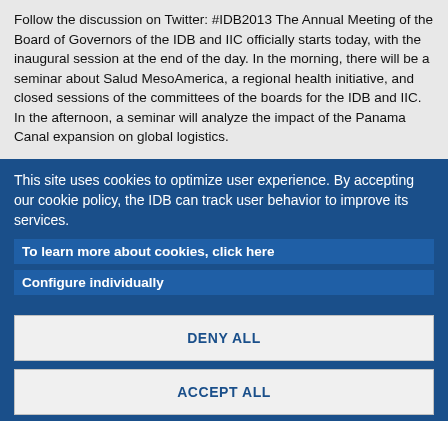Follow the discussion on Twitter: #IDB2013 The Annual Meeting of the Board of Governors of the IDB and IIC officially starts today, with the inaugural session at the end of the day. In the morning, there will be a seminar about Salud MesoAmerica, a regional health initiative, and closed sessions of the committees of the boards for the IDB and IIC. In the afternoon, a seminar will analyze the impact of the Panama Canal expansion on global logistics.
This site uses cookies to optimize user experience. By accepting our cookie policy, the IDB can track user behavior to improve its services.
To learn more about cookies, click here
Configure individually
DENY ALL
ACCEPT ALL